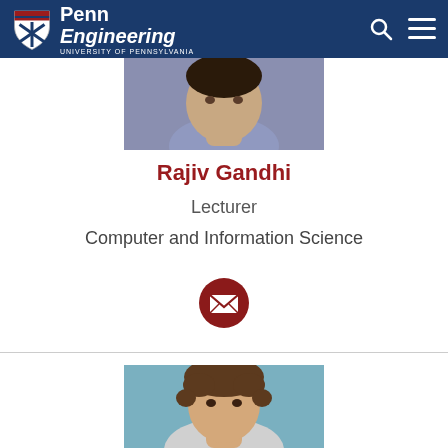Penn Engineering — University of Pennsylvania
[Figure (photo): Top portion of a person's photo (face/upper body in blue shirt)]
Rajiv Gandhi
Lecturer
Computer and Information Science
[Figure (illustration): Red circular email/envelope icon button]
[Figure (photo): Bottom partial photo of another person with curly brown hair]